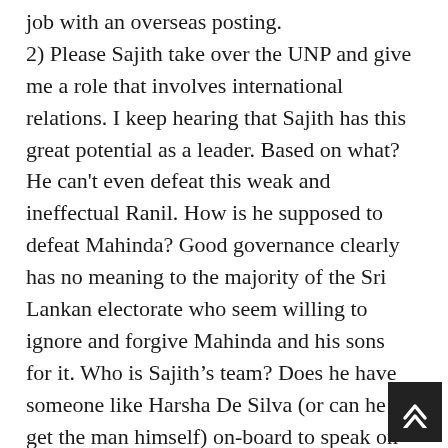job with an overseas posting.
2) Please Sajith take over the UNP and give me a role that involves international relations. I keep hearing that Sajith has this great potential as a leader. Based on what? He can't even defeat this weak and ineffectual Ranil. How is he supposed to defeat Mahinda? Good governance clearly has no meaning to the majority of the Sri Lankan electorate who seem willing to ignore and forgive Mahinda and his sons for it. Who is Sajith's team? Does he have someone like Harsha De Silva (or can he get the man himself) on-board to speak on economic affairs?How about the likes of Eran Wickramaratne?
Sajith's main virtue seems to be that he can play at being a bigger Sinhala-Buddhist than